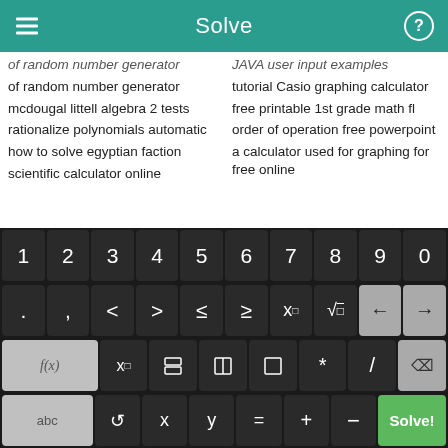Solve
of random number generator
tutorial Casio graphing calculator
mcdougal littell algebra 2 tests
free printable 1st grade math fl
rationalize polynomials automatic
order of operation free powerpoint
how to solve egyptian faction
a calculator used for graphing for free online
scientific calculator online
[Figure (screenshot): Calculator keyboard with number keys 1-9, 0; operator keys including <, >, ≤, ≥, x^□, √, backspace, forward; function keys f(x), x□, fraction, absolute value, parentheses, *, /; bottom row abc, undo, x, y, =, +, -, and Solve! button in green]